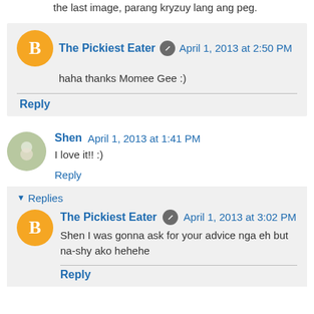the last image, parang kryzuy lang ang peg.
The Pickiest Eater  April 1, 2013 at 2:50 PM
haha thanks Momee Gee :)
Reply
Shen  April 1, 2013 at 1:41 PM
I love it!! :)
Reply
▼ Replies
The Pickiest Eater  April 1, 2013 at 3:02 PM
Shen I was gonna ask for your advice nga eh but na-shy ako hehehe
Reply